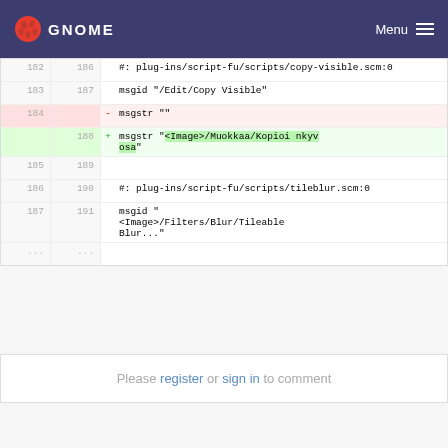GNOME Menu
182 186 #: plug-ins/script-fu/scripts/copy-visible.scm:0
183 187 msgid "<Image>/Edit/Copy Visible"
184 - msgstr ""
   188 + msgstr "<Image>/Muokkaa/Kopioi nkyv osa"
185 189
186 190 #: plug-ins/script-fu/scripts/tileblur.scm:0
187 191 msgid "<Image>/Filters/Blur/Tileable Blur..."
...  ...
Please register or sign in to comment